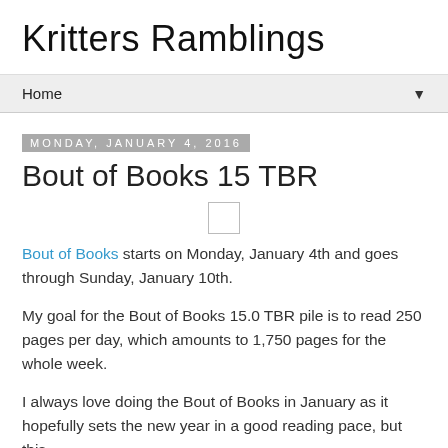Kritters Ramblings
Home
Monday, January 4, 2016
Bout of Books 15 TBR
[Figure (other): Small square image placeholder outline]
Bout of Books starts on Monday, January 4th and goes through Sunday, January 10th.
My goal for the Bout of Books 15.0 TBR pile is to read 250 pages per day, which amounts to 1,750 pages for the whole week.
I always love doing the Bout of Books in January as it hopefully sets the new year in a good reading pace, but this